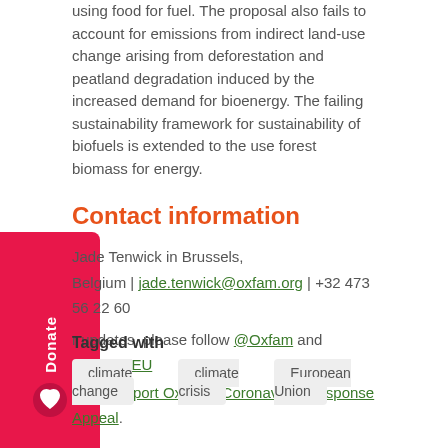using food for fuel. The proposal also fails to account for emissions from indirect land-use change arising from deforestation and peatland degradation induced by the increased demand for bioenergy. The failing sustainability framework for sustainability of biofuels is extended to the use forest biomass for energy.
Contact information
Jade Tenwick in Brussels, Belgium | jade.tenwick@oxfam.org | +32 473 56 22 60
r updates, please follow @Oxfam and @OxfamEU
ease support Oxfam's Coronavirus Response Appeal.
Tagged with
climate change
climate crisis
European Union